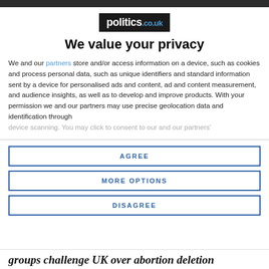[Figure (logo): politics.co.uk logo — white text on dark background]
We value your privacy
We and our partners store and/or access information on a device, such as cookies and process personal data, such as unique identifiers and standard information sent by a device for personalised ads and content, ad and content measurement, and audience insights, as well as to develop and improve products. With your permission we and our partners may use precise geolocation data and identification through device scanning. You may click to consent to our and our partners'
AGREE
MORE OPTIONS
DISAGREE
groups challenge UK over abortion deletion